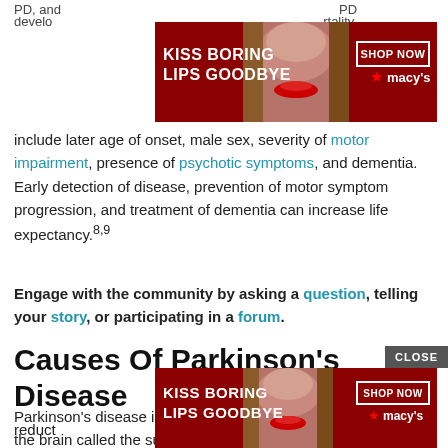PD, and … PD develo… rtality include later age of onset, male sex, severity of motor impairment, presence of psychotic symptoms, and dementia. Early detection of disease, prevention of motor symptom progression, and treatment of dementia can increase life expectancy.8,9
[Figure (photo): Macy's advertisement banner: 'KISS BORING LIPS GOODBYE' with model and SHOP NOW button]
Engage with the community by asking a question, telling your story, or participating in a forum.
Causes Of Parkinson's Disease
Parkinson's disease is caused by a loss of nerve cells in part of the brain called the substantia nigra. This lea… reduct…
[Figure (photo): Macy's advertisement banner bottom: 'KISS BORING LIPS GOODBYE' with model and SHOP NOW button, with CLOSE button]